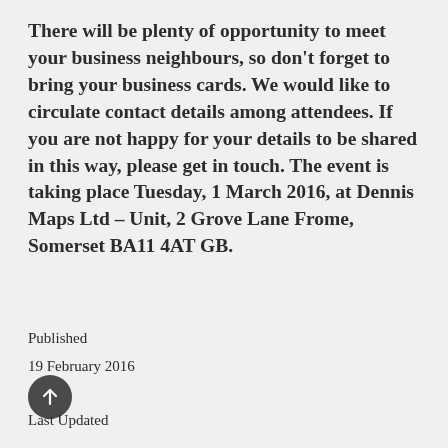There will be plenty of opportunity to meet your business neighbours, so don't forget to bring your business cards. We would like to circulate contact details among attendees. If you are not happy for your details to be shared in this way, please get in touch. The event is taking place Tuesday, 1 March 2016, at Dennis Maps Ltd – Unit, 2 Grove Lane Frome, Somerset BA11 4AT GB.
Published
19 February 2016
Last Updated